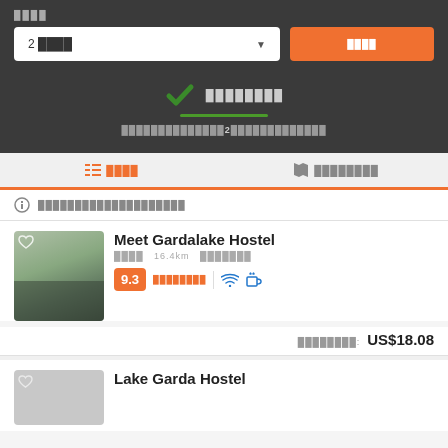2 ████
[Figure (screenshot): Dropdown selector showing '2 ████' with arrow, and an orange button with text ████]
[Figure (screenshot): Green checkmark icon with text ████████ and green underline, below text ██████████████2████████████]
██ ████  ████████
████████████████████
Meet Gardalake Hostel
████  16.4km ███████
9.3  ████████
████████:  US$18.08
Lake Garda Hostel